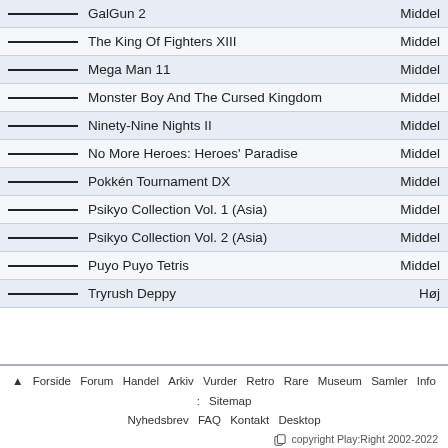| Game | Rating |
| --- | --- |
| GalGun 2 | Middel |
| The King Of Fighters XIII | Middel |
| Mega Man 11 | Middel |
| Monster Boy And The Cursed Kingdom | Middel |
| Ninety-Nine Nights II | Middel |
| No More Heroes: Heroes' Paradise | Middel |
| Pokkén Tournament DX | Middel |
| Psikyo Collection Vol. 1 (Asia) | Middel |
| Psikyo Collection Vol. 2 (Asia) | Middel |
| Puyo Puyo Tetris | Middel |
| Tryrush Deppy | Høj |
▲ Forside Forum Handel Arkiv Vurder Retro Rare Museum Samler Info : Sitemap Nyhedsbrev FAQ Kontakt Desktop copyright Play:Right 2002-2022